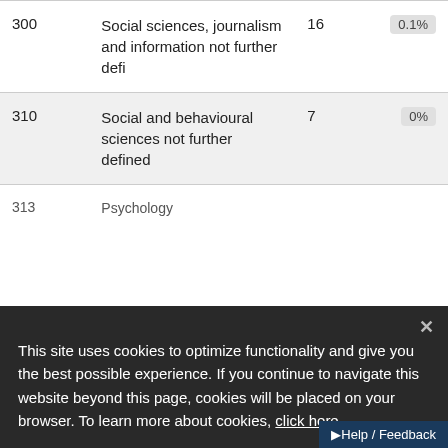| Code | Description | Count | Percentage |
| --- | --- | --- | --- |
| 300 | Social sciences, journalism and information not further defi | 16 | 0.1% |
| 310 | Social and behavioural sciences not further defined | 7 | 0% |
| 313 | Psychology |  |  |
This site uses cookies to optimize functionality and give you the best possible experience. If you continue to navigate this website beyond this page, cookies will be placed on your browser. To learn more about cookies, click here.